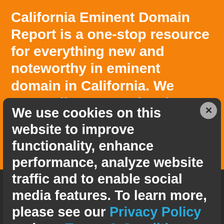California Eminent Domain Report is a one-stop resource for everything new and noteworthy in eminent domain in California. We cover all aspects of eminent domain in California, including condemnation, inverse condemnation, and regulatory takings. We also keep
We use cookies on this website to improve functionality, enhance performance, analyze website traffic and to enable social media features. To learn more, please see our Privacy Policy and our Terms & Conditions for additional detail.
Stay Connected